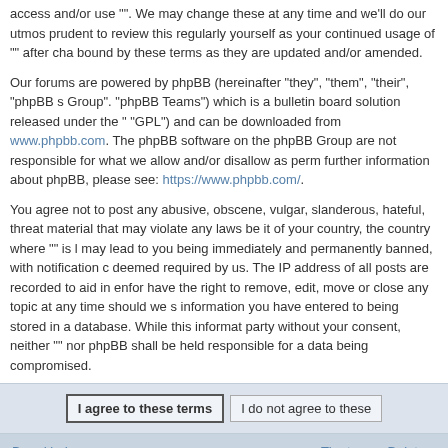access and/or use "". We may change these at any time and we'll do our utmos prudent to review this regularly yourself as your continued usage of "" after cha bound by these terms as they are updated and/or amended.
Our forums are powered by phpBB (hereinafter "they", "them", "their", "phpBB s Group". "phpBB Teams") which is a bulletin board solution released under the " "GPL") and can be downloaded from www.phpbb.com. The phpBB software on the phpBB Group are not responsible for what we allow and/or disallow as perm further information about phpBB, please see: https://www.phpbb.com/.
You agree not to post any abusive, obscene, vulgar, slanderous, hateful, threat material that may violate any laws be it of your country, the country where "" is l may lead to you being immediately and permanently banned, with notification c deemed required by us. The IP address of all posts are recorded to aid in enfor have the right to remove, edit, move or close any topic at any time should we s information you have entered to being stored in a database. While this informat party without your consent, neither "" nor phpBB shall be held responsible for a data being compromised.
[Figure (other): Two buttons: 'I agree to these terms' (bold, outlined) and 'I do not agree to these' on a light blue-grey background]
Board index    The team • Delete a
Powered by phpBB® Forum Software © phpBB Gr